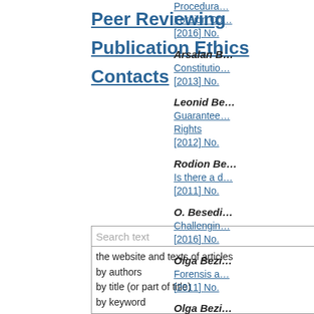Peer Reviewing
Publication Ethics
Contacts
[Figure (screenshot): Search text input box with dropdown options: the website and texts of articles, by authors, by title (or part of title), by keyword]
Arsalan B…
Constitutio…
[2013] No.
Leonid Be…
Guarantee…
Rights
[2012] No.
Rodion Be…
Is there a d…
[2011] No.
O. Besedi…
Challengin…
[2016] No.
Olga Bezi…
Forensis a…
[2011] No.
Olga Bezi…
Legal Form…